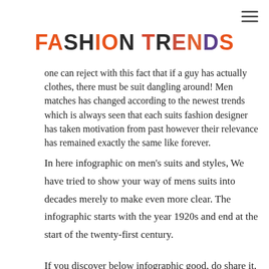FASHION TRENDS
one can reject with this fact that if a guy has actually clothes, there must be suit dangling around! Men matches has changed according to the newest trends which is always seen that each suits fashion designer has taken motivation from past however their relevance has remained exactly the same like forever.
In here infographic on men's suits and styles, We have tried to show your way of mens suits into decades merely to make even more clear. The infographic starts with the year 1920s and end at the start of the twenty-first century.
If you discover below infographic good, do share it.
Additionally, share your views on who was simply ideal manner symbol into the specific period. And what sort of suite you